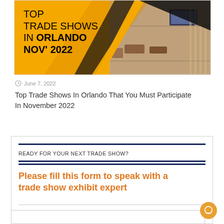[Figure (photo): Banner image with yellow/gold background and diagonal geometric shapes, text 'TOP TRADE SHOWS IN ORLANDO NOV' 2022' on left, photo of modern trade show exhibit room on right]
June 7, 2022
Top Trade Shows In Orlando That You Must Participate In November 2022
READY FOR YOUR NEXT TRADE SHOW?
Please fill this form to speak with a trade show exhibit expert
Name